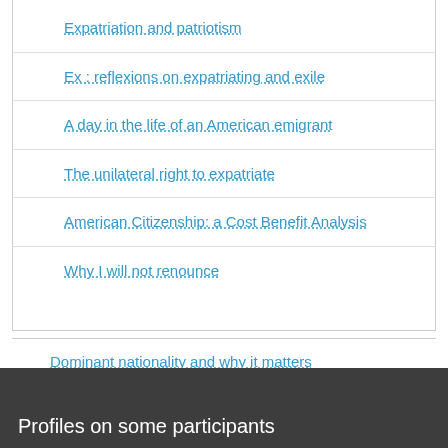Expatriation and patriotism
Ex : reflexions on expatriating and exile
A day in the life of an American emigrant
The unilateral right to expatriate
American Citizenship: a Cost Benefit Analysis
Why I will not renounce
Dominant nationality and why it matters
Profiles on some participants